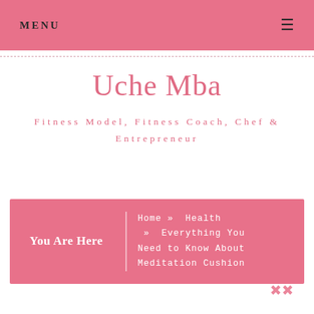MENU
Uche Mba
Fitness Model, Fitness Coach, Chef & Entrepreneur
You Are Here  Home » Health » Everything You Need to Know About Meditation Cushion